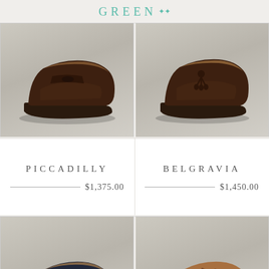GREEN
[Figure (photo): Brown suede penny loafer shoe (Piccadilly) on light grey background]
[Figure (photo): Dark brown suede tassel loafer shoe (Belgravia) on light grey background]
PICCADILLY
$1,375.00
BELGRAVIA
$1,450.00
[Figure (photo): Navy/dark blue tassel loafer shoe on light grey background]
[Figure (photo): Tan/camel suede wingtip brogue oxford shoe on light grey background]